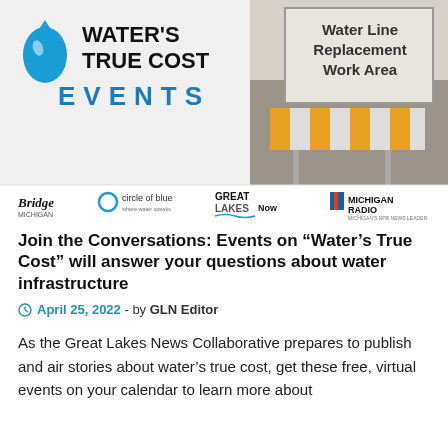[Figure (photo): Water's True Cost Events banner image. Left side shows the Water's True Cost Events logo with a blue water drop icon and bold text 'WATER'S TRUE COST' and 'EVENTS' in blue. Right side shows a photo of a road construction sign reading 'Water Line Replacement Work Area' with orange and white striped barriers. Bottom strip shows logos of partner organizations: Bridge Michigan, circle of blue, GreatLakesNow, and Michigan Radio.]
Join the Conversations: Events on “Water’s True Cost” will answer your questions about water infrastructure
April 25, 2022 - by GLN Editor
As the Great Lakes News Collaborative prepares to publish and air stories about water’s true cost, get these free, virtual events on your calendar to learn more about